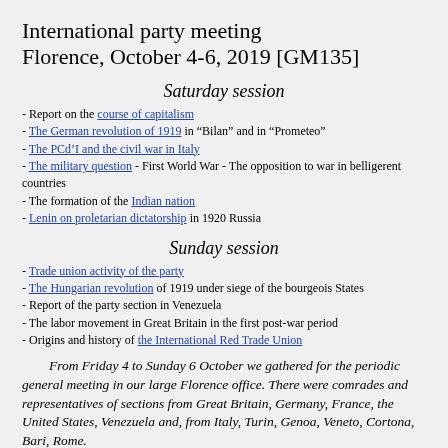International party meeting
Florence, October 4-6, 2019 [GM135]
Saturday session
- Report on the course of capitalism
- The German revolution of 1919 in “Bilan” and in “Prometeo”
- The PCd’I and the civil war in Italy
- The military question - First World War - The opposition to war in belligerent countries
- The formation of the Indian nation
- Lenin on proletarian dictatorship in 1920 Russia
Sunday session
- Trade union activity of the party
- The Hungarian revolution of 1919 under siege of the bourgeois States
- Report of the party section in Venezuela
- The labor movement in Great Britain in the first post-war period
- Origins and history of the International Red Trade Union
From Friday 4 to Sunday 6 October we gathered for the periodic general meeting in our large Florence office. There were comrades and representatives of sections from Great Britain, Germany, France, the United States, Venezuela and, from Italy, Turin, Genoa, Veneto, Cortona, Bari, Rome.
All activities were carried out with our pressing and orderly rhythms, according to the pre-established plan, finally agreed on at the beginning of the meeting. Intercalary translations in English were performed.